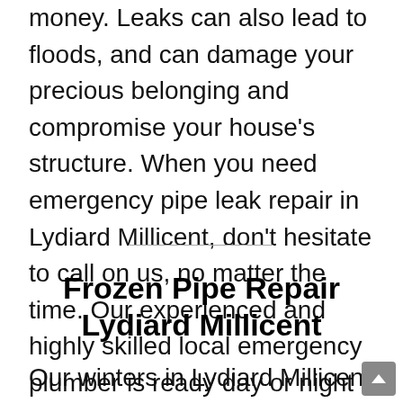money. Leaks can also lead to floods, and can damage your precious belonging and compromise your house's structure. When you need emergency pipe leak repair in Lydiard Millicent, don't hesitate to call on us, no matter the time. Our experienced and highly skilled local emergency plumber is ready day or night to fix your pipe leaks.
Frozen Pipe Repair Lydiard Millicent
Our winters in Lydiard Millicent can be extreme,